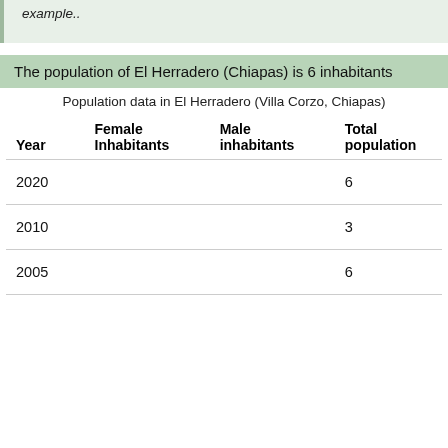example..
The population of El Herradero (Chiapas) is 6 inhabitants
Population data in El Herradero (Villa Corzo, Chiapas)
| Year | Female Inhabitants | Male inhabitants | Total population |
| --- | --- | --- | --- |
| 2020 |  |  | 6 |
| 2010 |  |  | 3 |
| 2005 |  |  | 6 |